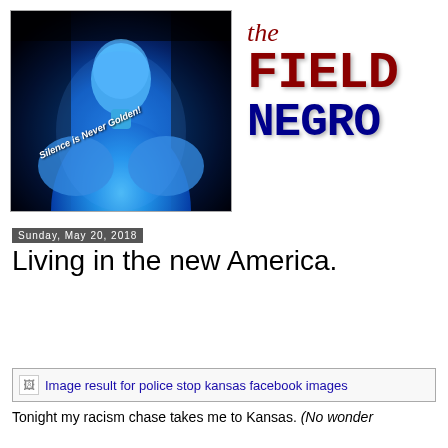[Figure (photo): Blue-tinted figure of a person from behind/side with text 'Silence is Never Golden!' overlaid diagonally in white italic text. Dark background with blue glow effect.]
[Figure (logo): The Field Negro blog logo. 'the' in dark red italic serif, 'FIELD' in large dark red monospace bold, 'NEGRO' in large dark blue monospace bold.]
Sunday, May 20, 2018
Living in the new America.
[Figure (screenshot): Broken image placeholder linking to 'Image result for police stop kansas facebook images']
Tonight my racism chase takes me to Kansas. (No wonder